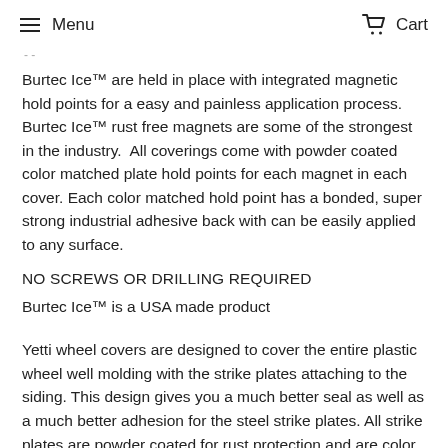Menu   Cart
Burtec Ice™ are held in place with integrated magnetic hold points for a easy and painless application process.   Burtec Ice™ rust free magnets are some of the strongest in the industry.  All coverings come with powder coated color matched plate hold points for each magnet in each cover. Each color matched hold point has a bonded, super strong industrial adhesive back with can be easily applied to any surface.
NO SCREWS OR DRILLING REQUIRED
Burtec Ice™ is a USA made product
Yetti wheel covers are designed to cover the entire plastic wheel well molding with the strike plates attaching to the siding. This design gives you a much better seal as well as a much better adhesion for the steel strike plates. All strike plates are powder coated for rust protection and are color